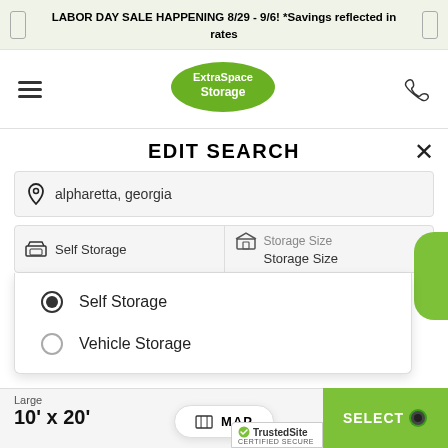LABOR DAY SALE HAPPENING 8/29 - 9/6! *Savings reflected in rates
[Figure (logo): Extra Space Storage logo - green oval with white text]
EDIT SEARCH
alpharetta, georgia
Self Storage
Storage Size
Storage Size
Self Storage (selected radio button)
Vehicle Storage
Large
10' x 20'
MAP
SELECT
[Figure (logo): TrustedSite certified secure badge]